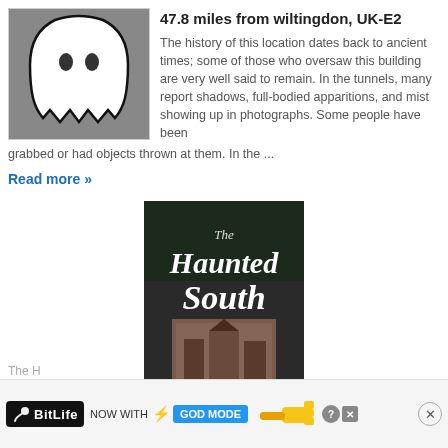[Figure (illustration): Ghost silhouette illustration on grey background — white ghost shape with black outline on a dark grey background]
47.8 miles from wiltingdon, UK-E2
The history of this location dates back to ancient times; some of those who oversaw this building are very well said to remain. In the tunnels, many report shadows, full-bodied apparitions, and mist showing up in photographs. Some people have been grabbed or had objects thrown at them. In the ...
grabbed or had objects thrown at them. In the ...
Read more »
[Figure (photo): Book cover: 'The Haunted South — Where Ghosts Still Roam' by Nancy Roberts. Dark cover with gothic text and a faded image of a building.]
The H
[Figure (screenshot): Advertisement banner for BitLife — 'NOW WITH GOD MODE' with sperm icon, lightning bolt, and pointing hand graphic]